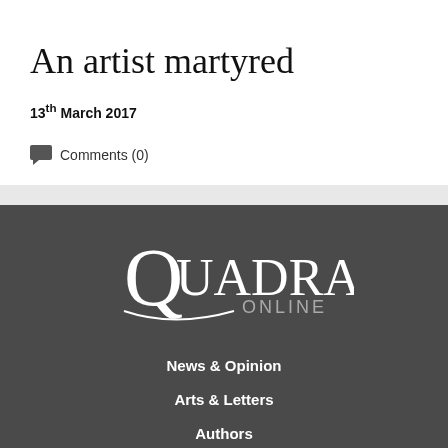An artist martyred
13th March 2017
Comments (0)
[Figure (logo): Quadrant Online logo in white text on dark gray background]
News & Opinion
Arts & Letters
Authors
Magazine